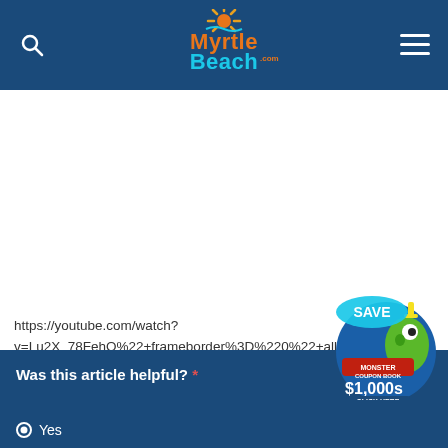MyrtleBeach.com header navigation
[Figure (screenshot): Blank white content area where a YouTube video embed would appear]
https://youtube.com/watch?v=Lu2X_78FehQ%22+frameborder%3D%220%22+all…fulls
[Figure (illustration): Monster Coupon Book advertisement badge with Save $1,000s - Click Here]
Was this article helpful? *
Yes